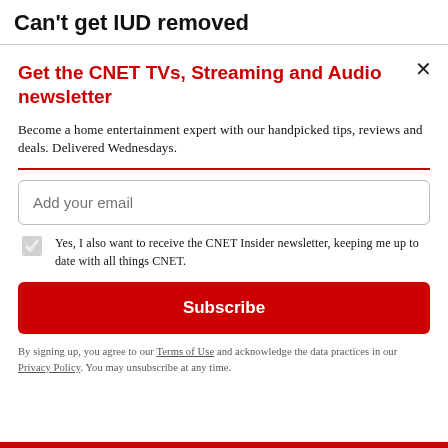Can't get IUD removed
Get the CNET TVs, Streaming and Audio newsletter
Become a home entertainment expert with our handpicked tips, reviews and deals. Delivered Wednesdays.
Add your email
Yes, I also want to receive the CNET Insider newsletter, keeping me up to date with all things CNET.
Subscribe
By signing up, you agree to our Terms of Use and acknowledge the data practices in our Privacy Policy. You may unsubscribe at any time.